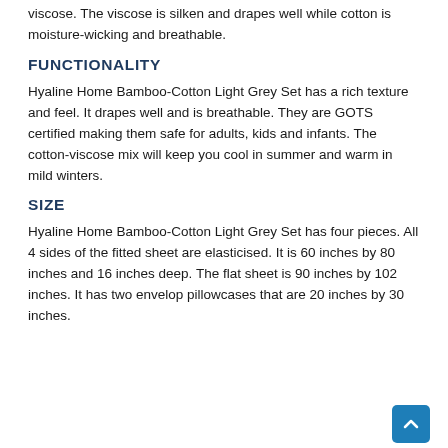viscose. The viscose is silken and drapes well while cotton is moisture-wicking and breathable.
FUNCTIONALITY
Hyaline Home Bamboo-Cotton Light Grey Set has a rich texture and feel. It drapes well and is breathable. They are GOTS certified making them safe for adults, kids and infants. The cotton-viscose mix will keep you cool in summer and warm in mild winters.
SIZE
Hyaline Home Bamboo-Cotton Light Grey Set has four pieces. All 4 sides of the fitted sheet are elasticised. It is 60 inches by 80 inches and 16 inches deep. The flat sheet is 90 inches by 102 inches. It has two envelop pillowcases that are 20 inches by 30 inches.